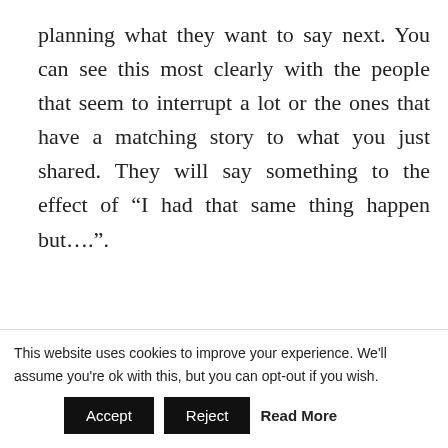planning what they want to say next. You can see this most clearly with the people that seem to interrupt a lot or the ones that have a matching story to what you just shared. They will say something to the effect of “I had that same thing happen but….”.
Every one wants to be seen, heard and acknowledged. It is part of being human. Yet we don’t seem to offer that courtesy to others.
This website uses cookies to improve your experience. We'll assume you're ok with this, but you can opt-out if you wish.